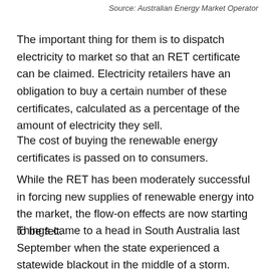Source: Australian Energy Market Operator
The important thing for them is to dispatch electricity to market so that an RET certificate can be claimed. Electricity retailers have an obligation to buy a certain number of these certificates, calculated as a percentage of the amount of electricity they sell.
The cost of buying the renewable energy certificates is passed on to consumers.
While the RET has been moderately successful in forcing new supplies of renewable energy into the market, the flow-on effects are now starting to be felt.
Things came to a head in South Australia last September when the state experienced a statewide blackout in the middle of a storm.